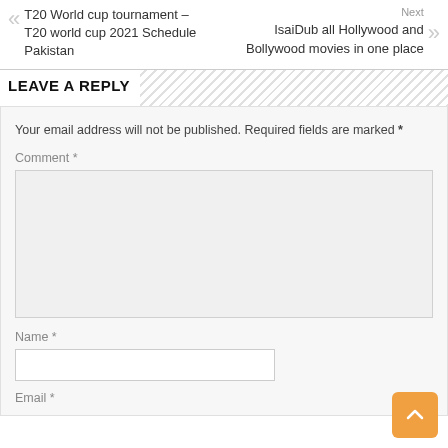T20 World cup tournament – T20 world cup 2021 Schedule Pakistan
Next
IsaiDub all Hollywood and Bollywood movies in one place
LEAVE A REPLY
Your email address will not be published. Required fields are marked *
Comment *
Name *
Email *